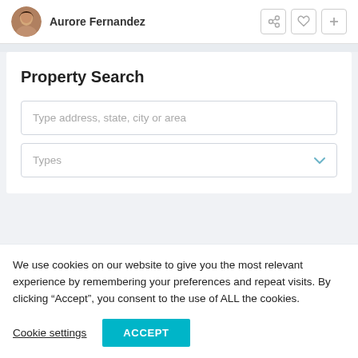Aurore Fernandez
Property Search
Type address, state, city or area
Types
We use cookies on our website to give you the most relevant experience by remembering your preferences and repeat visits. By clicking “Accept”, you consent to the use of ALL the cookies.
Cookie settings
ACCEPT